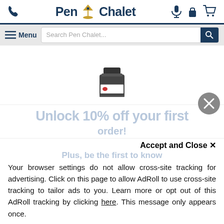[Figure (screenshot): Pen Chalet website header with logo, phone icon, microphone icon, lock icon, cart icon]
[Figure (screenshot): Navigation bar with hamburger Menu button and Search Pen Chalet... search box with dark blue search button]
[Figure (photo): Product image: dark ink bottle with black cap]
Unlock 10% off your first order!
Plus, be the first to know
Accept and Close ×
Your browser settings do not allow cross-site tracking for advertising. Click on this page to allow AdRoll to use cross-site tracking to tailor ads to you. Learn more or opt out of this AdRoll tracking by clicking here. This message only appears once.